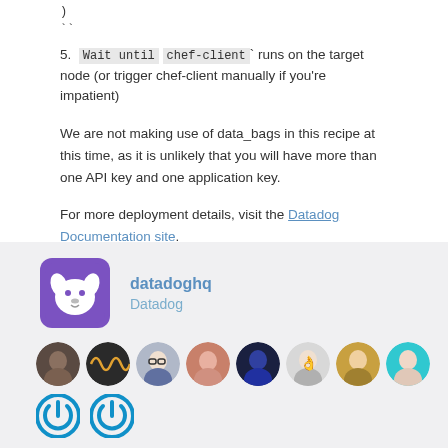)
``
5.  Wait until  chef-client` runs on the target node (or trigger chef-client manually if you're impatient)
We are not making use of data_bags in this recipe at this time, as it is unlikely that you will have more than one API key and one application key.
For more deployment details, visit the Datadog Documentation site.
[Figure (logo): Datadog HQ logo - purple dog icon]
datadoghq
Datadog
[Figure (photo): Row of contributor avatar photos]
[Figure (illustration): Two power/contributor icons]